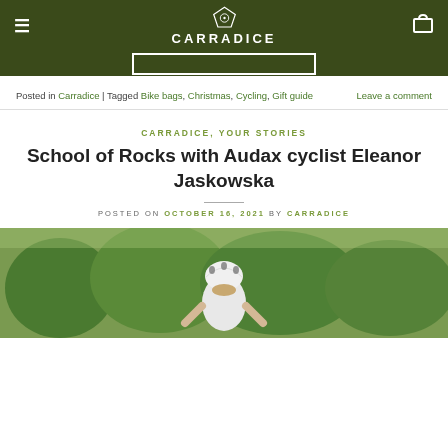CARRADICE [logo]
Posted in Carradice | Tagged Bike bags, Christmas, Cycling, Gift guide   Leave a comment
CARRADICE, YOUR STORIES
School of Rocks with Audax cyclist Eleanor Jaskowska
POSTED ON OCTOBER 16, 2021 BY CARRADICE
[Figure (photo): Cyclist seen from behind wearing white helmet and top, surrounded by green trees]